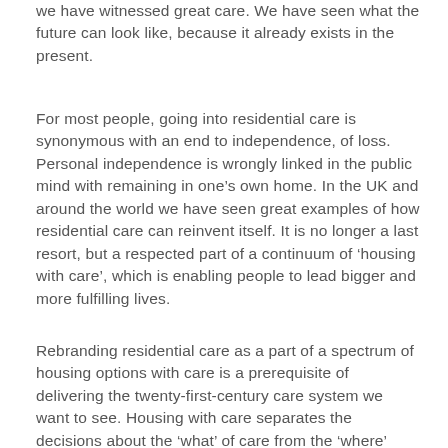we have witnessed great care. We have seen what the future can look like, because it already exists in the present.
For most people, going into residential care is synonymous with an end to independence, of loss. Personal independence is wrongly linked in the public mind with remaining in one’s own home. In the UK and around the world we have seen great examples of how residential care can reinvent itself. It is no longer a last resort, but a respected part of a continuum of ‘housing with care’, which is enabling people to lead bigger and more fulfilling lives.
Rebranding residential care as a part of a spectrum of housing options with care is a prerequisite of delivering the twenty-first-century care system we want to see. Housing with care separates the decisions about the ‘what’ of care from the ‘where’